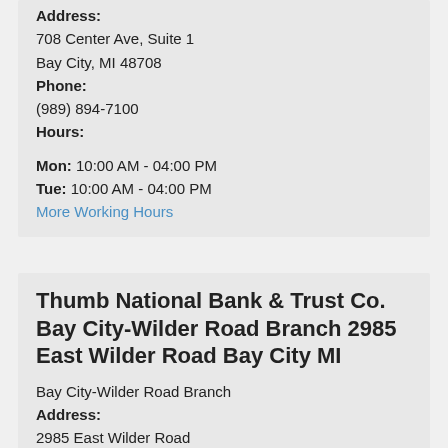Address:
708 Center Ave, Suite 1
Bay City, MI 48708
Phone:
(989) 894-7100
Hours:
Mon: 10:00 AM - 04:00 PM
Tue: 10:00 AM - 04:00 PM
More Working Hours
Thumb National Bank & Trust Co. Bay City-Wilder Road Branch 2985 East Wilder Road Bay City MI
Bay City-Wilder Road Branch
Address:
2985 East Wilder Road
Bay City, MI 48706
Phone: